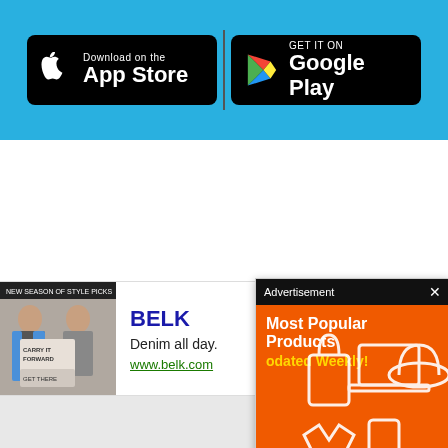[Figure (screenshot): App Store and Google Play download buttons on blue background banner]
[Figure (screenshot): Advertisement popup overlay showing 'Most Popular Products Updated Weekly!' on orange background with product icons]
[Figure (screenshot): Bottom display ad for BELK showing 'Denim all day. www.belk.com' with fashion image and play button]